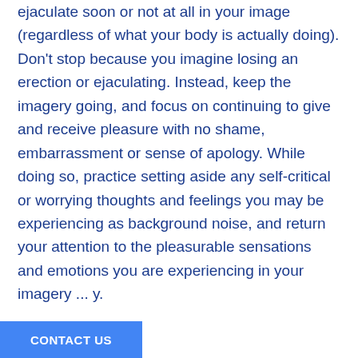ejaculate soon or not at all in your image (regardless of what your body is actually doing). Don't stop because you imagine losing an erection or ejaculating. Instead, keep the imagery going, and focus on continuing to give and receive pleasure with no shame, embarrassment or sense of apology. While doing so, practice setting aside any self-critical or worrying thoughts and feelings you may be experiencing as background noise, and return your attention to the pleasurable sensations and emotions you are experiencing in your imagery ... y.
CONTACT US